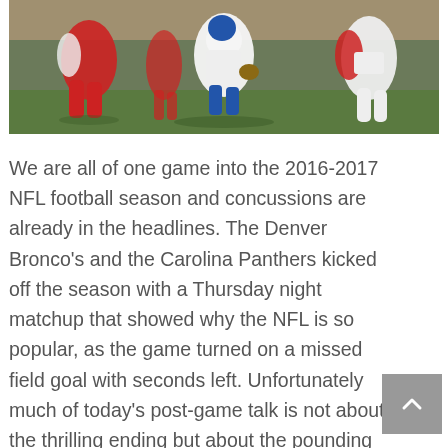[Figure (photo): NFL football game action photo showing players in red (Cardinals or similar) and white/blue (Giants or similar) uniforms during a play, with one player being tackled or blocked.]
We are all of one game into the 2016-2017 NFL football season and concussions are already in the headlines. The Denver Bronco's and the Carolina Panthers kicked off the season with a Thursday night matchup that showed why the NFL is so popular, as the game turned on a missed field goal with seconds left. Unfortunately much of today's post-game talk is not about the thrilling ending but about the pounding and blows to the head that were sustained by Panthers QB Cam Newton.